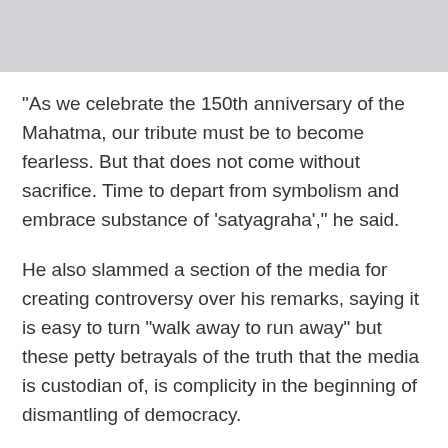"As we celebrate the 150th anniversary of the Mahatma, our tribute must be to become fearless. But that does not come without sacrifice. Time to depart from symbolism and embrace substance of 'satyagraha'," he said.
He also slammed a section of the media for creating controversy over his remarks, saying it is easy to turn "walk away to run away" but these petty betrayals of the truth that the media is custodian of, is complicity in the beginning of dismantling of democracy.
The former External Affairs Minister, in his post, also talked about the Kashmir issue, saying all those who